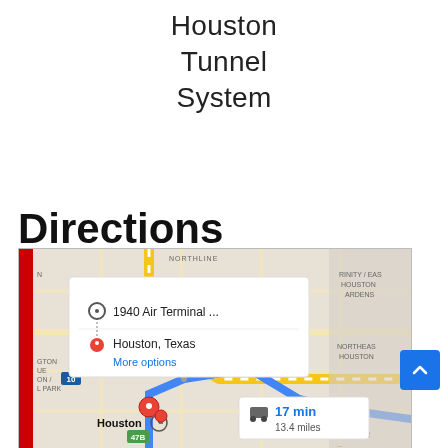Houston Tunnel System
Directions
[Figure (screenshot): Google Maps screenshot showing directions from 1940 Air Terminal to Houston, Texas. A popup shows the route origin '1940 Air Terminal ...' and destination 'Houston, Texas' with a 'More options' link. The map displays a driving route with '17 min, 13.4 miles' travel info. A red vertical bar appears on the left side of the map.]